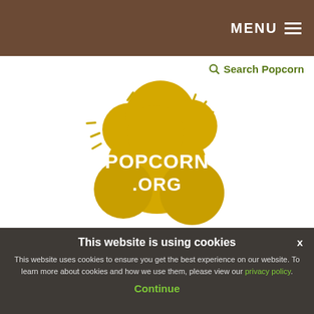MENU ☰
🔍 Search Popcorn
[Figure (logo): Popcorn.org logo — yellow/golden popcorn cloud shape with white hand-lettered text reading POPCORN .ORG, with sparkle lines radiating outward]
This website is using cookies
This website uses cookies to ensure you get the best experience on our website. To learn more about cookies and how we use them, please view our privacy policy.
Continue